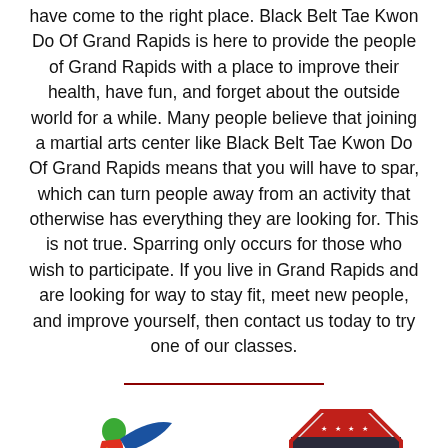have come to the right place. Black Belt Tae Kwon Do Of Grand Rapids is here to provide the people of Grand Rapids with a place to improve their health, have fun, and forget about the outside world for a while. Many people believe that joining a martial arts center like Black Belt Tae Kwon Do Of Grand Rapids means that you will have to spar, which can turn people away from an activity that otherwise has everything they are looking for. This is not true. Sparring only occurs for those who wish to participate. If you live in Grand Rapids and are looking for way to stay fit, meet new people, and improve yourself, then contact us today to try one of our classes.
[Figure (logo): World Taekwondo logo (colored figure with red, blue, yellow kicker silhouette) and USATKD octagon badge logo side by side]